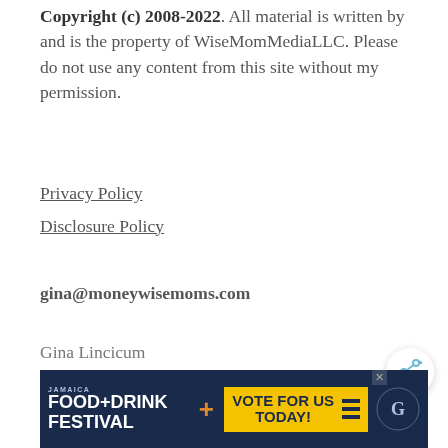Copyright (c) 2008-2022. All material is written by and is the property of WiseMomMediaLLC. Please do not use any content from this site without my permission.
Privacy Policy
Disclosure Policy
gina@moneywisemoms.com
Gina Lincicum
DC-area frugal lifestyle blogger
[Figure (other): Share button icon (circle with share arrows)]
[Figure (other): Jamaica Food+Drink Festival advertisement banner with 'Vote For Us Today!' call to action]